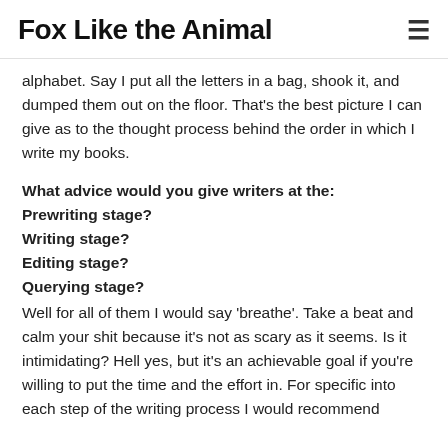Fox Like the Animal
alphabet. Say I put all the letters in a bag, shook it, and dumped them out on the floor. That’s the best picture I can give as to the thought process behind the order in which I write my books.
What advice would you give writers at the: Prewriting stage? Writing stage? Editing stage? Querying stage?
Well for all of them I would say ‘breathe’. Take a beat and calm your shit because it’s not as scary as it seems. Is it intimidating? Hell yes, but it’s an achievable goal if you’re willing to put the time and the effort in. For specific into each step of the writing process I would recommend